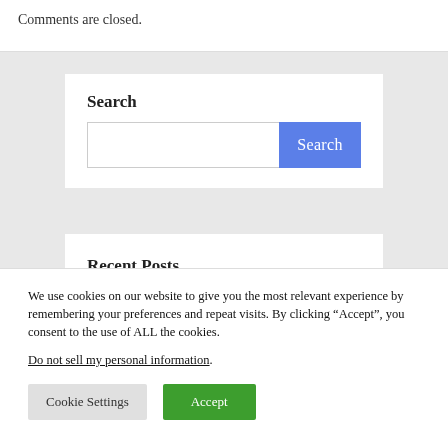Comments are closed.
Search
Recent Posts
We use cookies on our website to give you the most relevant experience by remembering your preferences and repeat visits. By clicking “Accept”, you consent to the use of ALL the cookies.
Do not sell my personal information.
Cookie Settings
Accept